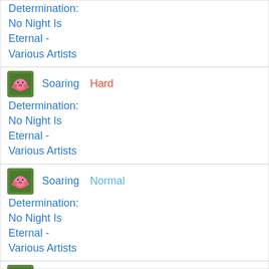Determination: No Night Is Eternal - Various Artists
Soaring | Hard | Determination: No Night Is Eternal - Various Artists
Soaring | Normal | Determination: No Night Is Eternal - Various Artists
Soaring | Easy | Determination: